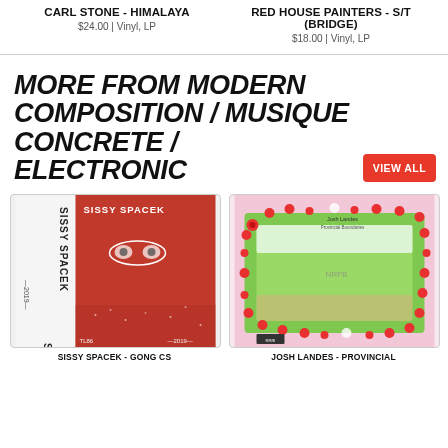CARL STONE - HIMALAYA
$24.00 | Vinyl, LP
RED HOUSE PAINTERS - S/T (BRIDGE)
$18.00 | Vinyl, LP
MORE FROM MODERN COMPOSITION / MUSIQUE CONCRETE / ELECTRONIC
[Figure (other): Sissy Spacek album cover - red and white graphic design with eyes and vertical text]
[Figure (other): Josh Landes album cover - pink/green floral illustrated frame with text]
SISSY SPACEK - GONG CS
JOSH LANDES - PROVINCIAL